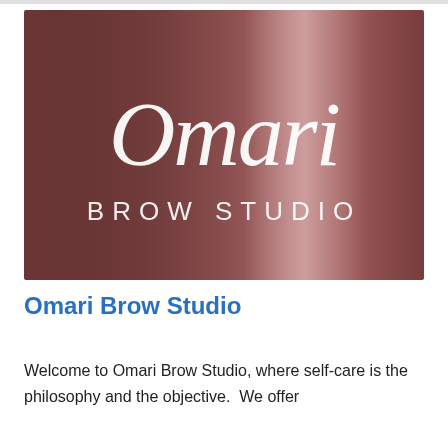[Figure (logo): Omari Brow Studio logo on a dark mauve/brown background. Cursive white text 'Omari' above, and sans-serif white text 'BROW STUDIO' below.]
Omari Brow Studio
Welcome to Omari Brow Studio, where self-care is the philosophy and the objective.  We offer